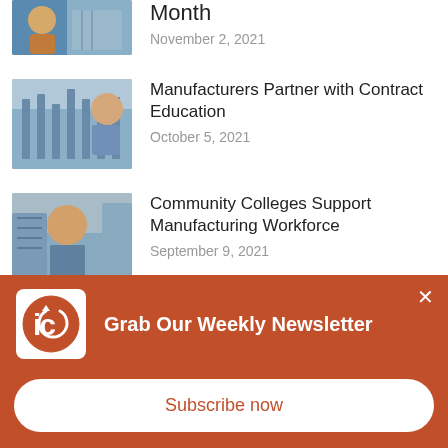[Figure (photo): Partial photo of person in wheelchair at workspace, cropped at top]
Month
November 2, 2021
[Figure (photo): Industrial machinery or manufacturing equipment with a person working]
Manufacturers Partner with Contract Education
October 5, 2021
[Figure (photo): Man working on industrial manufacturing equipment, close-up]
Community Colleges Support Manufacturing Workforce
September 9, 2021
[Figure (photo): Hands working on small mechanical or electrical components, partially visible]
Ramos bill to boost high school student vocational workforce
[Figure (logo): ie (Inside Edge or similar) circular logo in orange on white background]
Grab Our Weekly Newsletter
Subscribe now